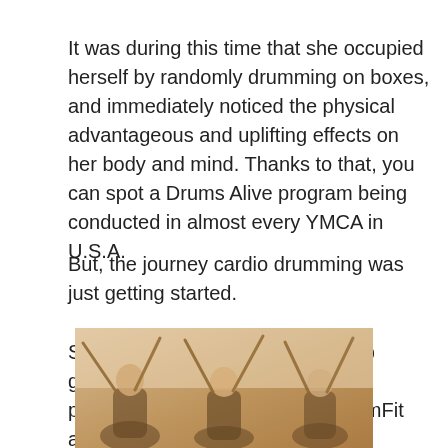It was during this time that she occupied herself by randomly drumming on boxes, and immediately noticed the physical advantageous and uplifting effects on her body and mind. Thanks to that, you can spot a Drums Alive program being conducted in almost every YMCA in U.S.A.
But, the journey cardio drumming was just getting started.
Similar programs started to pop up gradually. Two of the noteworthy programs and groups include DrumFit and POUND.
[Figure (photo): Photo of people (women) holding drumsticks raised up, participating in a cardio drumming class]